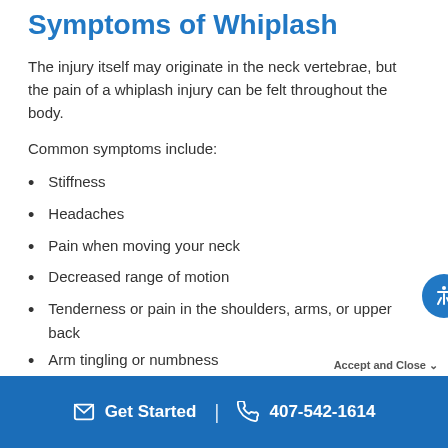Symptoms of Whiplash
The injury itself may originate in the neck vertebrae, but the pain of a whiplash injury can be felt throughout the body.
Common symptoms include:
Stiffness
Headaches
Pain when moving your neck
Decreased range of motion
Tenderness or pain in the shoulders, arms, or upper back
Arm tingling or numbness
Fatigue
Get Started | 407-542-1614